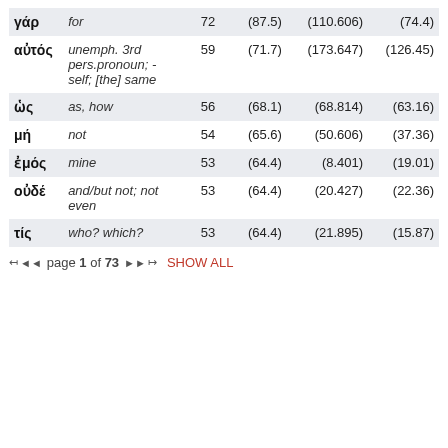| γάρ | for | 72 | (87.5) | (110.606) | (74.4) |
| αὐτός | unemph. 3rd pers.pronoun; -self; [the] same | 59 | (71.7) | (173.647) | (126.45) |
| ὡς | as, how | 56 | (68.1) | (68.814) | (63.16) |
| μή | not | 54 | (65.6) | (50.606) | (37.36) |
| ἐμός | mine | 53 | (64.4) | (8.401) | (19.01) |
| οὐδέ | and/but not; not even | 53 | (64.4) | (20.427) | (22.36) |
| τίς | who? which? | 53 | (64.4) | (21.895) | (15.87) |
page 1 of 73  SHOW ALL